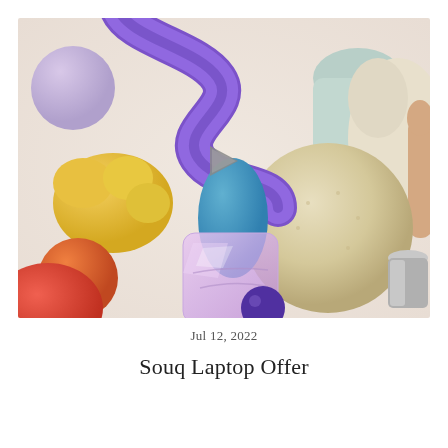[Figure (illustration): 3D rendered colorful abstract shapes and objects floating on a light background: purple twisted tube/snake shape, yellow lumpy blob, orange sphere, red-orange shape, translucent pink-purple ice cube, blue shape, large beige/cream fuzzy sphere, light teal vase shape, cream biomorphic shape, dark purple small ball, and a gray play button triangle in the center. A hand is partially visible on the right edge.]
Jul 12, 2022
Souq Laptop Offer